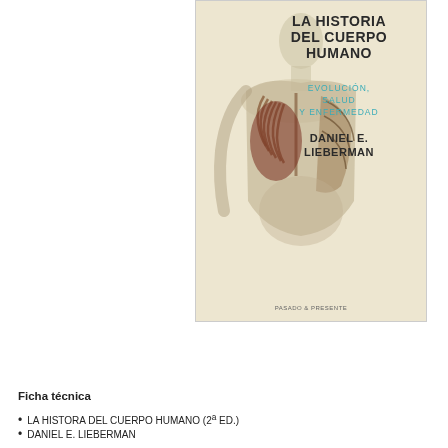[Figure (illustration): Book cover of 'La Historia del Cuerpo Humano' by Daniel E. Lieberman, showing an anatomical illustration of a human torso with visible internal organs and muscles on a beige background, published by Pasado & Presente]
[Figure (illustration): Orange download button with white bold text 'DESCARGAR' and a green download arrow icon]
Ficha técnica
LA HISTORA DEL CUERPO HUMANO (2ª ED.)
DANIEL E. LIEBERMAN